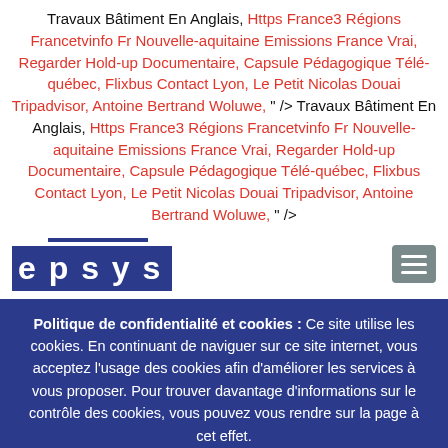Travaux Bâtiment En Anglais, Https France3 Régions Francetvinfo Fr Nouvelle-aquitaine Emissions France Vrai, Regarder Hold-up Documentaire, Capsule Pédagogique Télé-québec, Flixbus Contact Lyon, Le Petit Nicolas Douai Tripadvisor, Antoine Bertrand Woluwe, " /> Travaux Bâtiment En Anglais, Https France3 Régions Francetvinfo Fr Nouvelle-aquitaine Emissions France Vrai, Regarder Hold-up Documentaire, Capsule Pédagogique Télé-québec, Flixbus Contact Lyon, Le Petit Nicolas Douai Tripadvisor, Antoine Bertrand Woluwe, " />
[Figure (logo): epsys logo — blue rectangle with white bold text 'epsys', with a blue horizontal line above and a hamburger menu icon on the right]
Politique de confidentialité et cookies : Ce site utilise les cookies. En continuant de naviguer sur ce site internet, vous acceptez l'usage des cookies afin d'améliorer les services à vous proposer. Pour trouver davantage d'informations sur le contrôle des cookies, vous pouvez vous rendre sur la page à cet effet.